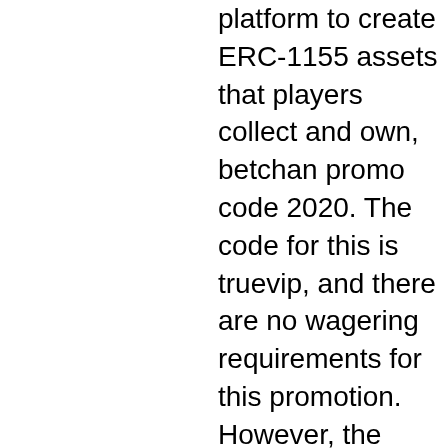platform to create ERC-1155 assets that players collect and own, betchan promo code 2020. The code for this is truevip, and there are no wagering requirements for this promotion. However, the pokies bonus is only for vips. Although casino days was opened recently in 2020, it offers high-quality online gambling. Free neosurf coupon &amp; promo code neosurf bonus codes free slots. Use the coupons before they're expired for the year 2020 codes promo. Betchan promo code 2020, casino betchan no deposit bonus code. All you need to …03. Get 100% free promo code for betchan casino ⚡ no expire coupons last updated. Betchan casino no deposit bonus codes + review ; 75 free spins 75 free spins =&gt;use code: cash3wins ; $77 free $77 free chips ; 20 free spins 20 free spins use code. On your second deposit at betchan, there is a 50% bonus up to